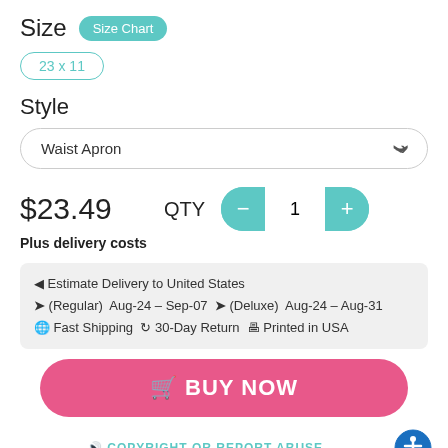Size
Size Chart
23 x 11
Style
Waist Apron
$23.49
Plus delivery costs
QTY
1
Estimate Delivery to United States
(Regular) Aug-24 – Sep-07 ❯ (Deluxe) Aug-24 – Aug-31
Fast Shipping 30-Day Return Printed in USA
BUY NOW
COPYRIGHT OR REPORT ABUSE